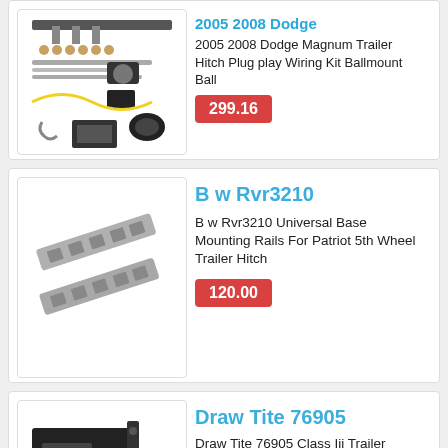[Figure (photo): Trailer hitch kit with ball mount, wiring, bolts and hardware components]
2005 2008 Dodge Magnum Trailer Hitch Plug play Wiring Kit Ballmount Ball
299.16
[Figure (photo): Two metal mounting rails for 5th wheel trailer hitch]
B w Rvr3210
B w Rvr3210 Universal Base Mounting Rails For Patriot 5th Wheel Trailer Hitch
120.00
[Figure (photo): Draw-Tite trailer hitch receiver, black metal, class III]
Draw Tite 76905
Draw Tite 76905 Class Iii Trailer Hidden Hitch Fits 2016 2022